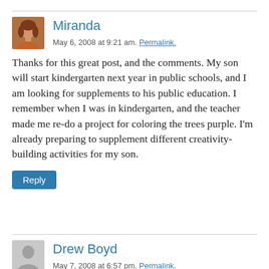[Figure (photo): Avatar photo of Miranda, a woman with reddish-brown hair]
Miranda
May 6, 2008 at 9:21 am. Permalink.
Thanks for this great post, and the comments. My son will start kindergarten next year in public schools, and I am looking for supplements to his public education. I remember when I was in kindergarten, and the teacher made me re-do a project for coloring the trees purple. I'm already preparing to supplement different creativity-building activities for my son.
Reply
[Figure (illustration): Generic grey avatar silhouette icon for Drew Boyd]
Drew Boyd
May 7, 2008 at 6:57 pm. Permalink.